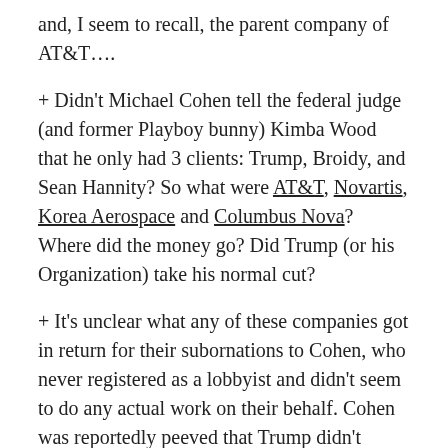and, I seem to recall, the parent company of AT&T….
+ Didn't Michael Cohen tell the federal judge (and former Playboy bunny) Kimba Wood that he only had 3 clients: Trump, Broidy, and Sean Hannity? So what were AT&T, Novartis, Korea Aerospace and Columbus Nova? Where did the money go? Did Trump (or his Organization) take his normal cut?
+ It's unclear what any of these companies got in return for their subornations to Cohen, who never registered as a lobbyist and didn't seem to do any actual work on their behalf. Cohen was reportedly peeved that Trump didn't invite him to serve on the White House staff. But as an outsider, he stood to make a small fortune selling access to Trump. Was that the plan all along?